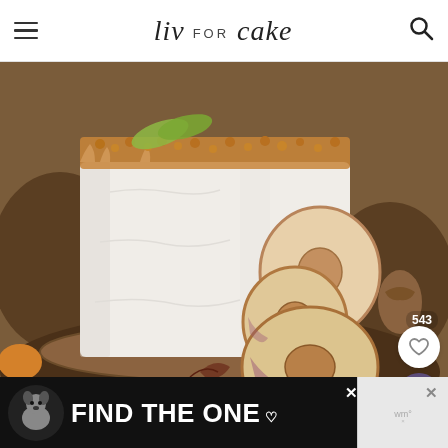Liv for Cake — navigation header with menu icon, logo, and search icon
[Figure (photo): Close-up photograph of a white frosted layer cake decorated with dried apple rings on the side and golden crumble topping with green apple slices on top, set on a rustic wooden board with autumn decorations]
[Figure (infographic): Like button overlay: 543 count with heart icon in white circle, and a purple search magnifier circle button]
[Figure (photo): Advertisement banner showing a dog and text FIND THE ONE with a heart icon on dark background, with a close button and a watermark logo on the right]